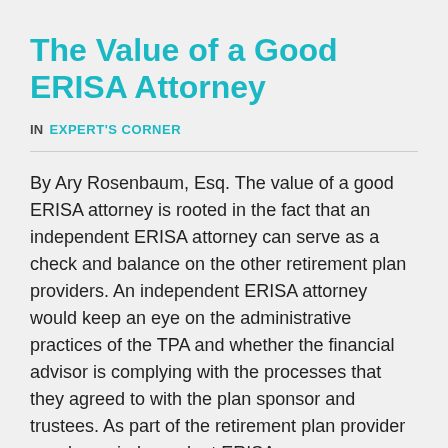The Value of a Good ERISA Attorney
IN EXPERT'S CORNER
By Ary Rosenbaum, Esq. The value of a good ERISA attorney is rooted in the fact that an independent ERISA attorney can serve as a check and balance on the other retirement plan providers. An independent ERISA attorney would keep an eye on the administrative practices of the TPA and whether the financial advisor is complying with the processes that they agreed to with the plan sponsor and trustees. As part of the retirement plan provider puzzle, an independent ERISA...